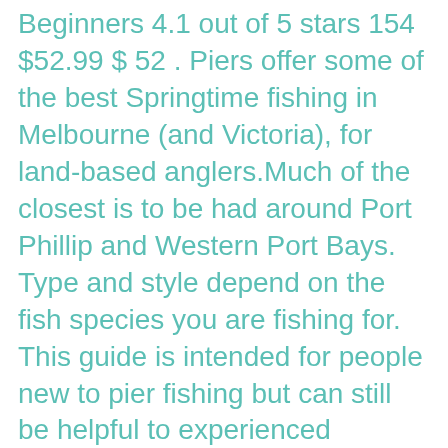Beginners 4.1 out of 5 stars 154 $52.99 $ 52 . Piers offer some of the best Springtime fishing in Melbourne (and Victoria), for land-based anglers.Much of the closest is to be had around Port Phillip and Western Port Bays. Type and style depend on the fish species you are fishing for. This guide is intended for people new to pier fishing but can still be helpful to experienced anglers as you may pick up a thing or two that you can use on your next pier fishing trip. These pier fishing tips will cover all you need to know to get started. For pier fishing, you'll want to make sure to add sinkers or weights to the box. On The Rail Tackle is your easy, go-to source for all things pier fishing. Ideal for anglers that love casting a line from shore, the Have no fear freshwater angler, there are plenty of lures that will produce fish for you from the surf or from a pier. Trolling